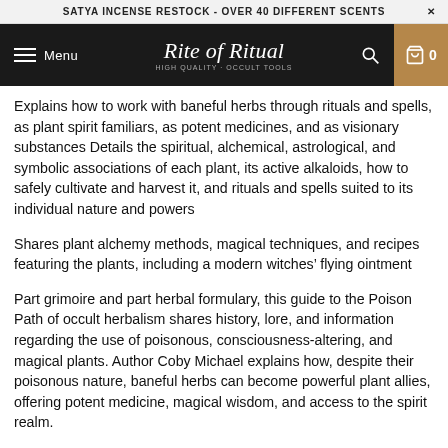SATYA INCENSE RESTOCK - OVER 40 DIFFERENT SCENTS
[Figure (logo): Rite of Ritual website navigation bar with hamburger menu, logo, search icon, and cart icon showing 0]
Explains how to work with baneful herbs through rituals and spells, as plant spirit familiars, as potent medicines, and as visionary substances Details the spiritual, alchemical, astrological, and symbolic associations of each plant, its active alkaloids, how to safely cultivate and harvest it, and rituals and spells suited to its individual nature and powers
Shares plant alchemy methods, magical techniques, and recipes featuring the plants, including a modern witches' flying ointment
Part grimoire and part herbal formulary, this guide to the Poison Path of occult herbalism shares history, lore, and information regarding the use of poisonous, consciousness-altering, and magical plants. Author Coby Michael explains how, despite their poisonous nature, baneful herbs can become powerful plant allies, offering potent medicine, magical wisdom, and access to the spirit realm.
Detailing the spiritual, alchemical, astrological, and symbolic associations of each plant, the author explores their magical uses in